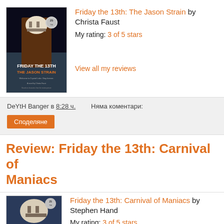[Figure (illustration): Book cover for Friday the 13th: The Jason Strain showing Jason Voorhees in hockey mask]
Friday the 13th: The Jason Strain by Christa Faust
My rating: 3 of 5 stars
View all my reviews
DeYtH Banger в 8:28 ч.   Няма коментари:
Споделяне
Review: Friday the 13th: Carnival of Maniacs
[Figure (illustration): Book cover for Friday the 13th: Carnival of Maniacs]
Friday the 13th: Carnival of Maniacs by Stephen Hand
My rating: 3 of 5 stars